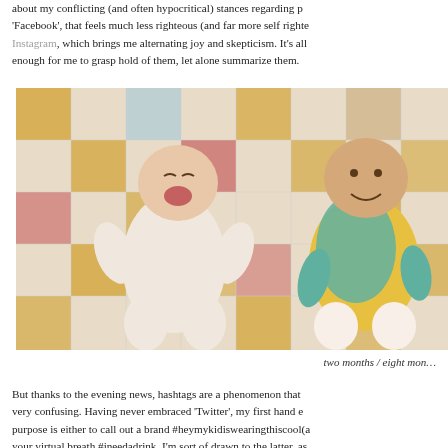about my conflicting (and often hypocritical) stances regarding p… 'Facebook', that feels much less righteous (and far more self righte… Instagram, which brings me alternating joy and skepticism. It's all… enough for me to grasp hold of them, let alone summarize them.
[Figure (photo): Two babies lying on a patchwork quilt. Left baby is younger (two months), wearing a white/pink smocked outfit, laughing. Right baby is older (eight months), wearing a yellow outfit with a teal/green cardigan, smiling.]
two months / eight mon…
But thanks to the evening news, hashtags are a phenomenon that… very confusing. Having never embraced 'Twitter', my first hand e… purpose is either to call out a brand #heymykidiswearingthiscool(a… your virtual breath #ineedadrink. I'm sort of drawn to the latter, as…